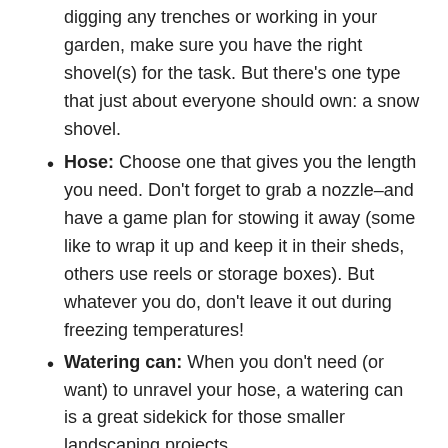digging any trenches or working in your garden, make sure you have the right shovel(s) for the task. But there's one type that just about everyone should own: a snow shovel.
Hose: Choose one that gives you the length you need. Don't forget to grab a nozzle–and have a game plan for stowing it away (some like to wrap it up and keep it in their sheds, others use reels or storage boxes). But whatever you do, don't leave it out during freezing temperatures!
Watering can: When you don't need (or want) to unravel your hose, a watering can is a great sidekick for those smaller landscaping projects.
Door mats: Keep as much dirt and grime outside – and add a welcoming feel to any entranceway.
Snowblower: When winter sweeps in with a mega